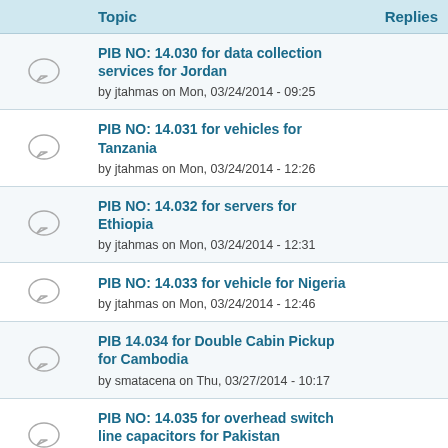|  | Topic | Replies |
| --- | --- | --- |
| [icon] | PIB NO: 14.030 for data collection services for Jordan
by jtahmas on Mon, 03/24/2014 - 09:25 |  |
| [icon] | PIB NO: 14.031 for vehicles for Tanzania
by jtahmas on Mon, 03/24/2014 - 12:26 |  |
| [icon] | PIB NO: 14.032 for servers for Ethiopia
by jtahmas on Mon, 03/24/2014 - 12:31 |  |
| [icon] | PIB NO: 14.033 for vehicle for Nigeria
by jtahmas on Mon, 03/24/2014 - 12:46 |  |
| [icon] | PIB 14.034 for Double Cabin Pickup for Cambodia
by smatacena on Thu, 03/27/2014 - 10:17 |  |
| [icon] | PIB NO: 14.035 for overhead switch line capacitors for Pakistan
by jtahmas on Tue, 04/01/2014 - 09:17 |  |
| [icon] | PIB NO: 14.036 for installation and testing services for meters for Pakistan
by jtahmas on Tue, 04/01/2014 - 09:22 |  |